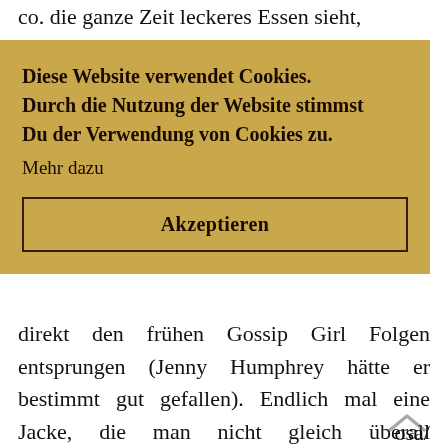co. die ganze Zeit leckeres Essen sieht,
[Figure (screenshot): Cookie consent overlay in German on a golden/tan background. Text reads: 'Diese Website verwendet Cookies. Durch die Nutzung der Website stimmst Du der Verwendung von Cookies zu. Mehr dazu' with an 'Akzeptieren' button.]
mit
s bei
osa/
e er
direkt den frühen Gossip Girl Folgen entsprungen (Jenny Humphrey hätte er bestimmt gut gefallen). Endlich mal eine Jacke, die man nicht gleich überall wiederentdeckt! Ein bisschen girly, aber durch meine Lederhose wieder rockig. Dazu habe ich mich für ein graues Rollkragen-Shirt